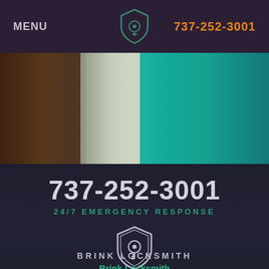MENU   737-252-3001
[Figure (photo): Hero image showing a dark wooden door frame on the left with green/teal color door or wall on the right, mixed with light concrete background in the middle]
737-252-3001
24/7 EMERGENCY RESPONSE
[Figure (logo): Shield logo with key icon outline in white/grey on dark background for Brink Locksmith]
BRINK LOCKSMITH
Brink Locksmith